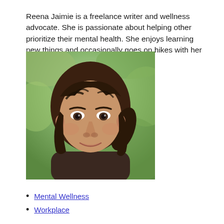Reena Jaimie is a freelance writer and wellness advocate. She is passionate about helping other prioritize their mental health. She enjoys learning new things and occasionally goes on hikes with her Labrador, Max.
[Figure (photo): Portrait photo of a young woman with dark brown hair and bangs, looking directly at the camera, outdoors with a blurred green background.]
Mental Wellness
Workplace